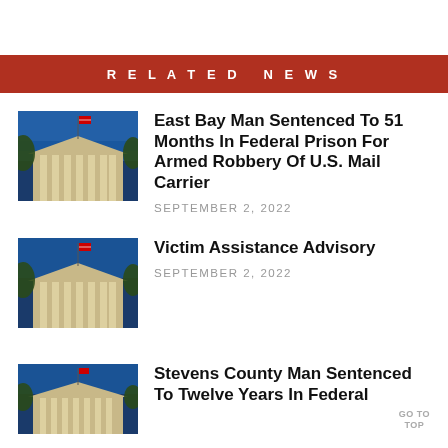RELATED NEWS
East Bay Man Sentenced To 51 Months In Federal Prison For Armed Robbery Of U.S. Mail Carrier
SEPTEMBER 2, 2022
Victim Assistance Advisory
SEPTEMBER 2, 2022
Stevens County Man Sentenced To Twelve Years In Federal
GO TO TOP